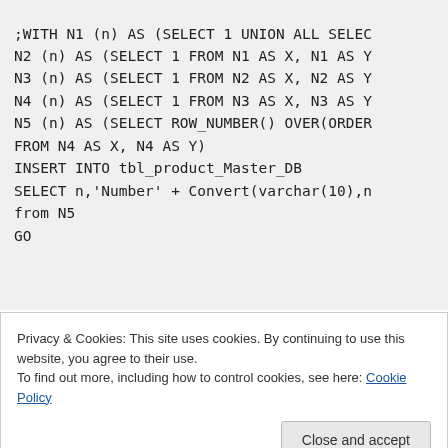;WITH N1 (n) AS (SELECT 1 UNION ALL SELEC N2 (n) AS (SELECT 1 FROM N1 AS X, N1 AS Y N3 (n) AS (SELECT 1 FROM N2 AS X, N2 AS Y N4 (n) AS (SELECT 1 FROM N3 AS X, N3 AS Y N5 (n) AS (SELECT ROW_NUMBER() OVER(ORDER FROM N4 AS X, N4 AS Y) INSERT INTO tbl_product_Master_DB SELECT n,'Number' + Convert(varchar(10),n from N5 GO
Privacy & Cookies: This site uses cookies. By continuing to use this website, you agree to their use.
To find out more, including how to control cookies, see here: Cookie Policy